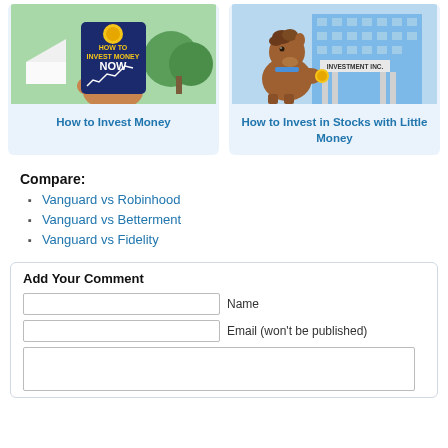[Figure (illustration): Illustration of hands holding a phone showing 'How to Invest Money Now' book cover with a green/teal background]
How to Invest Money
[Figure (illustration): Illustration of a cartoon horse character in front of an 'Investment Inc.' building, with a city skyline]
How to Invest in Stocks with Little Money
Compare:
Vanguard vs Robinhood
Vanguard vs Betterment
Vanguard vs Fidelity
Add Your Comment
Name
Email (won't be published)